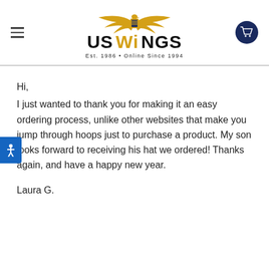US WINGS Est. 1986 · Online Since 1994
Hi,
I just wanted to thank you for making it an easy ordering process, unlike other websites that make you jump through hoops just to purchase a product. My son looks forward to receiving his hat we ordered! Thanks again, and have a happy new year.

Laura G.